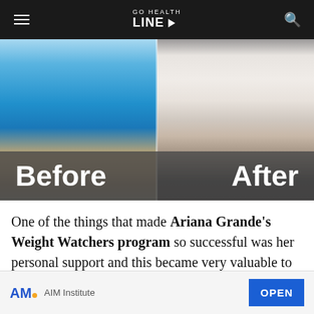GO HEALTH LINE
[Figure (photo): Before and after weight loss comparison photos side by side, with 'Before' label on left and 'After' label on right, overlaid on a semi-transparent dark grey bar at the bottom of the images.]
One of the things that made Ariana Grande’s Weight Watchers program so successful was her personal support and this became very valuable to many members of the program.
[Figure (screenshot): Advertisement banner for AIM Institute with logo on left, 'AIM Institute' text, and blue OPEN button on right.]